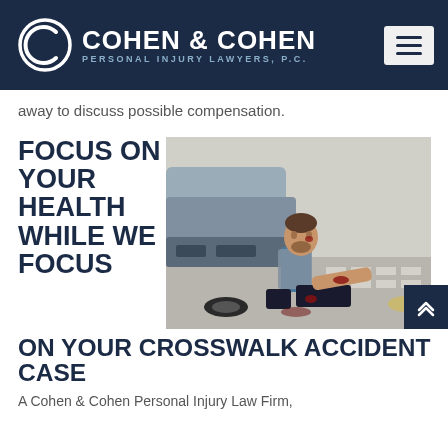Cohen & Cohen Personal Injury Lawyers, P.C.
away to discuss possible compensation.
FOCUS ON YOUR HEALTH WHILE WE FOCUS ON YOUR CROSSWALK ACCIDENT CASE
[Figure (photo): Injured man sitting on ground leaning against a car after a crosswalk accident, with visible blood on his arm and knee]
A Cohen & Cohen Personal Injury Law Firm, P.C.